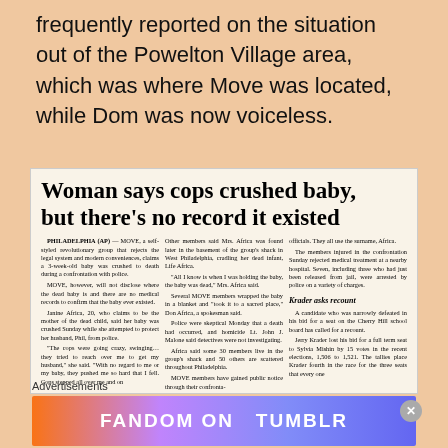frequently reported on the situation out of the Powelton Village area, which was where Move was located, while Dom was now voiceless.
[Figure (screenshot): Newspaper clipping with headline 'Woman says cops crushed baby, but there's no record it existed' with three-column article text from Philadelphia AP about MOVE organization and a secondary story 'Krader asks recount']
Advertisements
[Figure (illustration): Tumblr Fandom advertisement banner with colorful gradient background and text 'FANDOM ON tumblr']